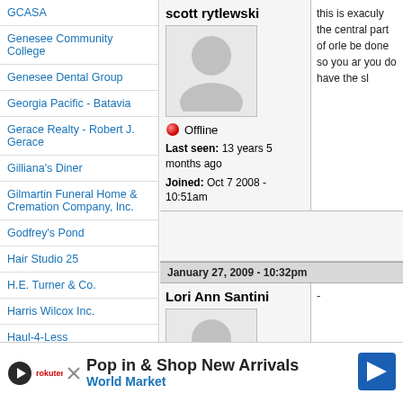GCASA
Genesee Community College
Genesee Dental Group
Georgia Pacific - Batavia
Gerace Realty - Robert J. Gerace
Gilliana's Diner
Gilmartin Funeral Home & Cremation Company, Inc.
Godfrey's Pond
Hair Studio 25
H.E. Turner & Co.
Harris Wilcox Inc.
Haul-4-Less
Henry H. Cook Inc.
High Voltage Tattoo
Hodgins Printing
Howard
Humphh
scott rytlewski
Offline
Last seen: 13 years 5 months ago
Joined: Oct 7 2008 - 10:51am
this is exactly the central part of orle be done so you ar you do have the sl
January 27, 2009 - 10:32pm
Lori Ann Santini
-
Pop in & Shop New Arrivals World Market